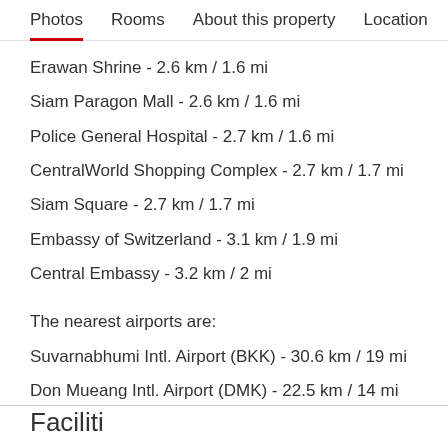Photos  Rooms  About this property  Location
Erawan Shrine - 2.6 km / 1.6 mi
Siam Paragon Mall - 2.6 km / 1.6 mi
Police General Hospital - 2.7 km / 1.6 mi
CentralWorld Shopping Complex - 2.7 km / 1.7 mi
Siam Square - 2.7 km / 1.7 mi
Embassy of Switzerland - 3.1 km / 1.9 mi
Central Embassy - 3.2 km / 2 mi
The nearest airports are:
Suvarnabhumi Intl. Airport (BKK) - 30.6 km / 19 mi
Don Mueang Intl. Airport (DMK) - 22.5 km / 14 mi
Facilities